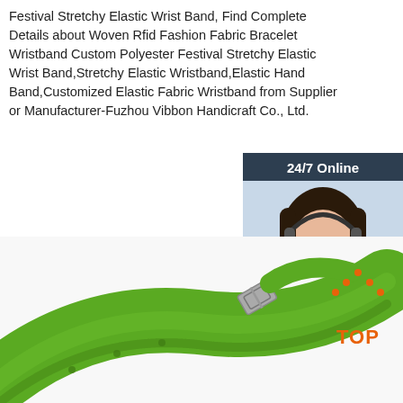Festival Stretchy Elastic Wrist Band, Find Complete Details about Woven Rfid Fashion Fabric Bracelet Wristband Custom Polyester Festival Stretchy Elastic Wrist Band,Stretchy Elastic Wristband,Elastic Hand Band,Customized Elastic Fabric Wristband from Supplier or Manufacturer-Fuzhou Vibbon Handicraft Co., Ltd.
Get Price
[Figure (infographic): 24/7 Online chat widget with a photo of a woman wearing a headset, and a 'Click here for free chat!' prompt with an orange QUOTATION button]
[Figure (photo): Green stretchy elastic wristband with a metal buckle clasp, shown on white background]